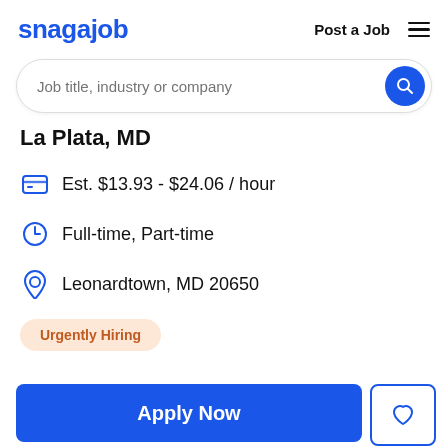snagajob  Post a Job
Job title, industry or company
La Plata, MD
Est. $13.93 - $24.06 / hour
Full-time, Part-time
Leonardtown, MD 20650
Urgently Hiring
Apply Now